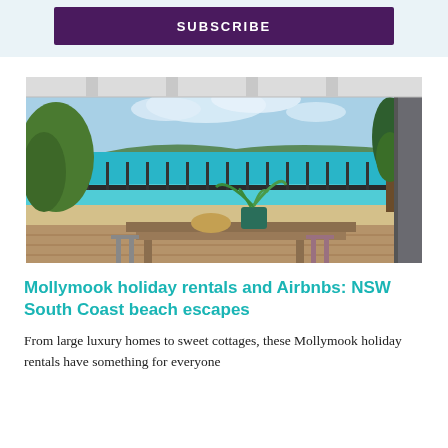SUBSCRIBE
[Figure (photo): Balcony view of Mollymook beach with turquoise water, outdoor dining table, plant in pot, and pine trees framing the coastal scene on a sunny day]
Mollymook holiday rentals and Airbnbs: NSW South Coast beach escapes
From large luxury homes to sweet cottages, these Mollymook holiday rentals have something for everyone